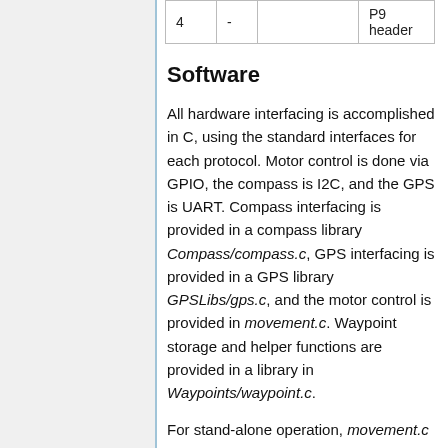| 4 | - |  | P9 header |
Software
All hardware interfacing is accomplished in C, using the standard interfaces for each protocol. Motor control is done via GPIO, the compass is I2C, and the GPS is UART. Compass interfacing is provided in a compass library Compass/compass.c, GPS interfacing is provided in a GPS library GPSLibs/gps.c, and the motor control is provided in movement.c. Waypoint storage and helper functions are provided in a library in Waypoints/waypoint.c.
For stand-alone operation, movement.c is compiled with the necessary libraries as a stand-alone binary.